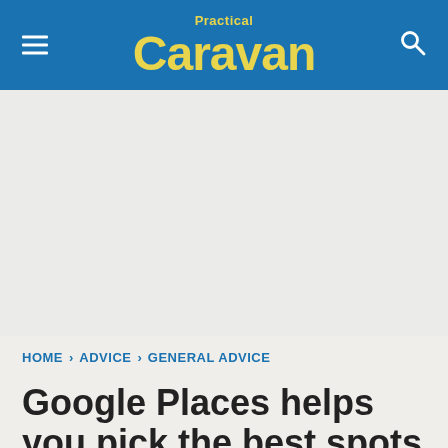Practical Caravan
[Figure (screenshot): Advertisement/empty ad placeholder area with light grey background]
HOME › ADVICE › GENERAL ADVICE
Google Places helps you pick the best spots to eat